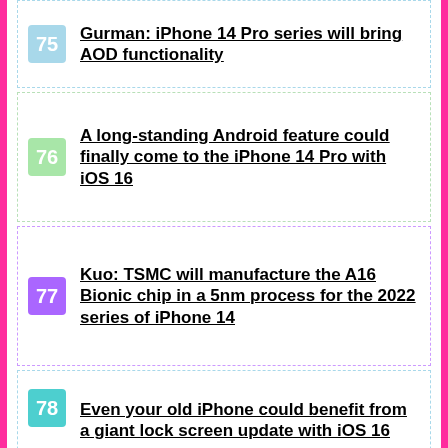75 Gurman: iPhone 14 Pro series will bring AOD functionality
76 A long-standing Android feature could finally come to the iPhone 14 Pro with iOS 16
77 Kuo: TSMC will manufacture the A16 Bionic chip in a 5nm process for the 2022 series of iPhone 14
78 Even your old iPhone could benefit from a giant lock screen update with iOS 16